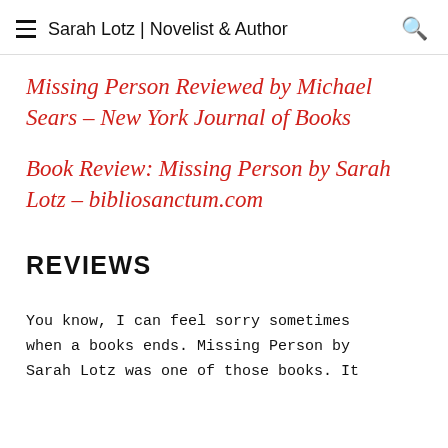Sarah Lotz | Novelist & Author
Missing Person Reviewed by Michael Sears – New York Journal of Books
Book Review: Missing Person by Sarah Lotz – bibliosanctum.com
REVIEWS
You know, I can feel sorry sometimes when a books ends. Missing Person by Sarah Lotz was one of those books. It